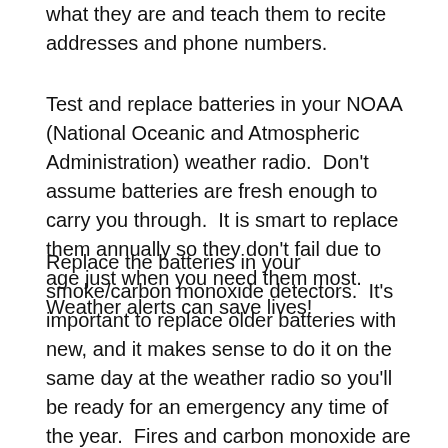what they are and teach them to recite addresses and phone numbers.
Test and replace batteries in your NOAA (National Oceanic and Atmospheric Administration) weather radio.  Don't assume batteries are fresh enough to carry you through.  It is smart to replace them annually so they don't fail due to age just when you need them most.  Weather alerts can save lives!
Replace the batteries in your smoke/carbon monoxide detectors.  It's important to replace older batteries with new, and it makes sense to do it on the same day at the weather radio so you'll be ready for an emergency any time of the year.  Fires and carbon monoxide are no joke.  A simple battery change can keep the warning systems ready for prime time to help save you and your family-member's lives.